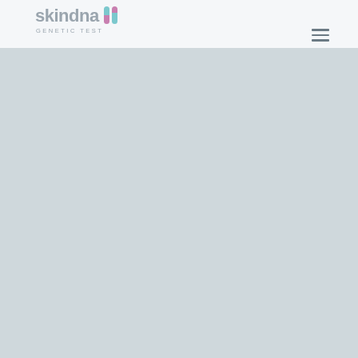skindna GENETIC TEST
[Figure (logo): Skindna Genetic Test logo with two pill/capsule shaped bar icons in teal and pink/mauve colors next to the text 'skindna' in gray, with 'GENETIC TEST' subtitle below in small caps, and a hamburger menu icon on the right side of the header.]